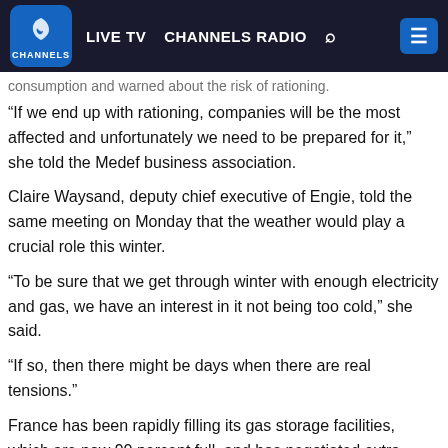LIVE TV  CHANNELS RADIO
...consumption and warned about the risk of rationing.
“If we end up with rationing, companies will be the most affected and unfortunately we need to be prepared for it,” she told the Medef business association.
Claire Waysand, deputy chief executive of Engie, told the same meeting on Monday that the weather would play a crucial role this winter.
“To be sure that we get through winter with enough electricity and gas, we have an interest in it not being too cold,” she said.
“If so, then there might be days when there are real tensions.”
France has been rapidly filling its gas storage facilities, which are now 90 percent full, and has negotiated extra supplies from Norway.
The country relies on nuclear for most of its electricity, but gas accounts for about 20 percent of its total energy consumption, mostly for residential heating and cooking as well as industrial purposes, official figures show.
Posted on August 30, 2022August 30, 2022Author Ignatius IgweCategories Russia invades UkraineTags Gazprom, Russia,